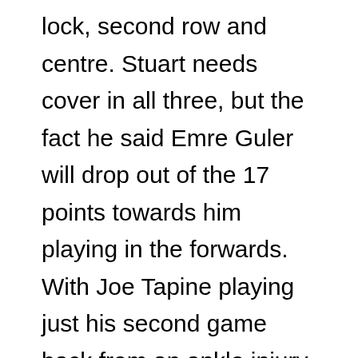lock, second row and centre. Stuart needs cover in all three, but the fact he said Emre Guler will drop out of the 17 points towards him playing in the forwards. With Joe Tapine playing just his second game back from an ankle injury, Bateman could slot into the second row, allowing Tapine to be part of the middle rotation. canada goose store
cheap Canada Goose Abhishek Bachchan, who is completing two